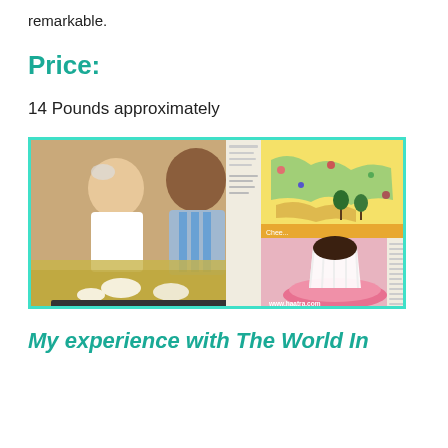remarkable.
Price:
14 Pounds approximately
[Figure (photo): Composite photo showing children cooking from a book on the left, a colorful illustrated world map book page on the upper right, and a chocolate muffin on a pink plate on the lower right. Watermark: www.haatra.com]
My experience with The World In